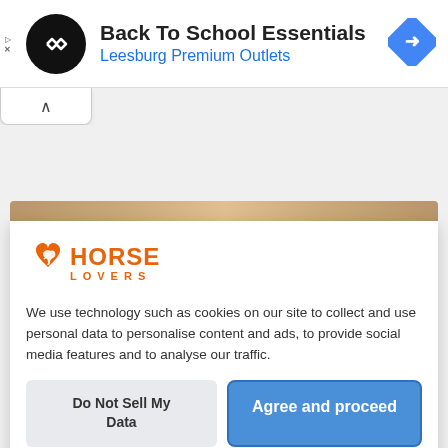[Figure (screenshot): Ad banner with black circular logo with white arrows, text 'Back To School Essentials' and 'Leesburg Premium Outlets' in blue, and a blue navigation arrow diamond icon on the right]
[Figure (screenshot): Collapse/minimize tab with upward caret symbol]
[Figure (logo): Horse Lovers logo - orange heart with horse silhouette and text HORSE LOVERS in orange]
We use technology such as cookies on our site to collect and use personal data to personalise content and ads, to provide social media features and to analyse our traffic.
Do Not Sell My Data
Agree and proceed
Powered by UniConsent